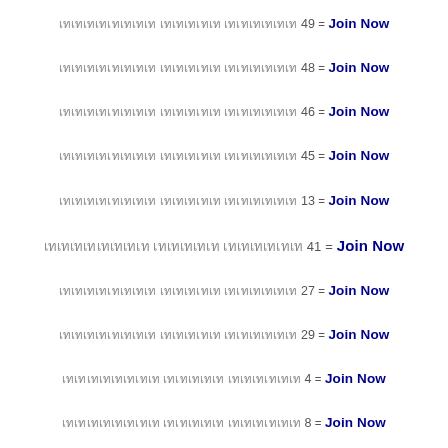เทเทเทเทเทเทเทเท เทเทเทเทเท เทเทเทเทเทเท 49 = Join Now
เทเทเทเทเทเทเทเท เทเทเทเทเท เทเทเทเทเทเท 48 = Join Now
เทเทเทเทเทเทเทเท เทเทเทเทเท เทเทเทเทเทเท 46 = Join Now
เทเทเทเทเทเทเทเท เทเทเทเทเท เทเทเทเทเทเท 45 = Join Now
เทเทเทเทเทเทเทเท เทเทเทเทเท เทเทเทเทเทเท 13 = Join Now
เทเทเทเทเทเทเทเท เทเทเทเทเท เทเทเทเทเทเท 41 = Join Now
เทเทเทเทเทเทเทเท เทเทเทเทเท เทเทเทเทเทเท 27 = Join Now
เทเทเทเทเทเทเทเท เทเทเทเทเท เทเทเทเทเทเท 29 = Join Now
เทเทเทเทเทเทเทเท เทเทเทเทเท เทเทเทเทเทเท 4 = Join Now
เทเทเทเทเทเทเทเท เทเทเทเทเท เทเทเทเทเทเท 8 = Join Now